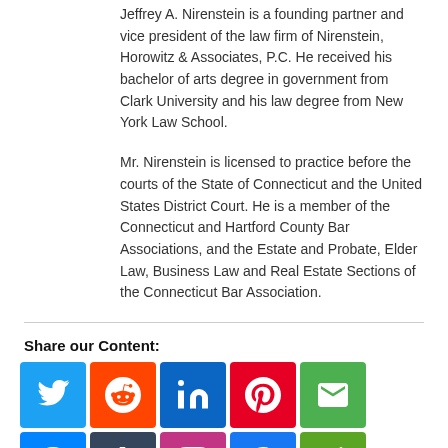Jeffrey A. Nirenstein is a founding partner and vice president of the law firm of Nirenstein, Horowitz & Associates, P.C. He received his bachelor of arts degree in government from Clark University and his law degree from New York Law School.
Mr. Nirenstein is licensed to practice before the courts of the State of Connecticut and the United States District Court. He is a member of the Connecticut and Hartford County Bar Associations, and the Estate and Probate, Elder Law, Business Law and Real Estate Sections of the Connecticut Bar Association.
Share our Content:
[Figure (infographic): Social media sharing icons grid with two rows: Twitter, Reddit, LinkedIn, Pinterest, Email, Messenger, Tumblr, Instagram, Facebook, Evernote in row 1; Telegram, Flipboard, MeWe, Meneame, Pocket, WordPress, Gmail, WhatsApp, SMS in row 2.]
Other Articles You May Find